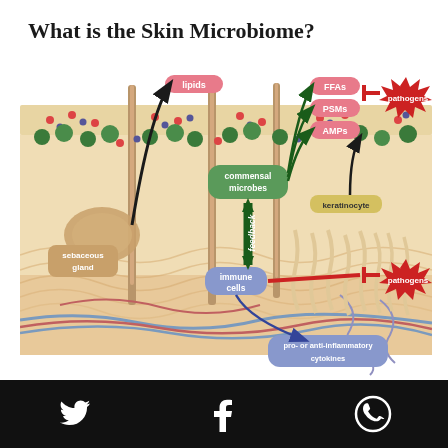What is the Skin Microbiome?
[Figure (infographic): Diagram of skin microbiome showing cross-section of skin layers with hair follicles, sebaceous gland, commensal microbes (green circles), keratinocytes, immune cells. Dark arrows show lipids from sebaceous gland feeding commensal microbes, which produce FFAs, PSMs, and AMPs that inhibit pathogens (red starburst shapes). Double-headed feedback arrow connects commensal microbes to immune cells. Immune cells also inhibit pathogens and release pro- or anti-inflammatory cytokines. Labels: lipids, commensal microbes, sebaceous gland, keratinocyte, FFAs, PSMs, AMPs, pathogens (x2), immune cells, pro- or anti-inflammatory cytokines, feedback.]
= microbes  FFAs = free fatty acids
Twitter Facebook WhatsApp social share icons